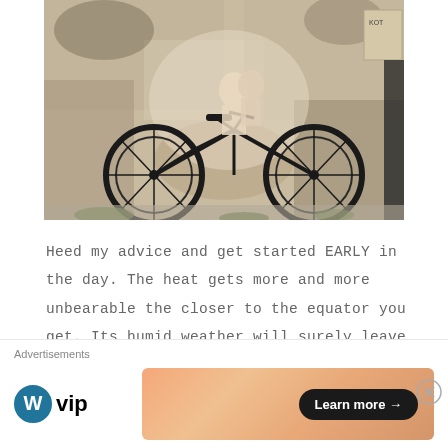[Figure (photo): Street art mural on a weathered, crumbling wall showing two children on a bicycle. A real bicycle is leaned against the wall. The mural depicts one child riding and another standing behind. The wall is aged with peeling paint and moss.]
Heed my advice and get started EARLY in the day. The heat gets more and more unbearable the closer to the equator you get. Its humid weather will surely leave an impression on you and your shirt with profuse sweat. Another upside to not
Advertisements
[Figure (logo): WordPress VIP logo — WordPress circular logo icon followed by 'vip' text in bold]
[Figure (infographic): Advertisement banner with orange/peach gradient background containing a 'Learn more →' button in a dark rounded rectangle]